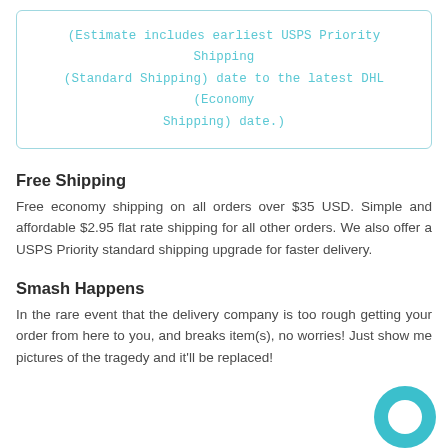(Estimate includes earliest USPS Priority Shipping (Standard Shipping) date to the latest DHL (Economy Shipping) date.)
Free Shipping
Free economy shipping on all orders over $35 USD. Simple and affordable $2.95 flat rate shipping for all other orders. We also offer a USPS Priority standard shipping upgrade for faster delivery.
Smash Happens
In the rare event that the delivery company is too rough getting your order from here to you, and breaks item(s), no worries! Just show me pictures of the tragedy and it'll be replaced!